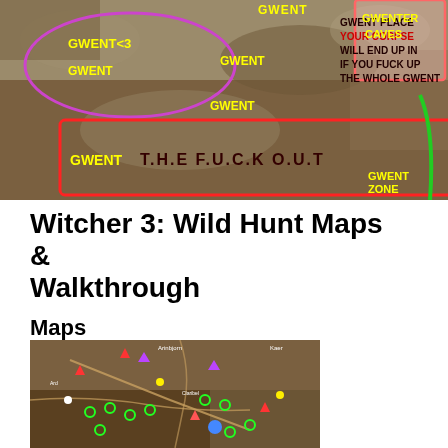[Figure (map): A humorous annotated Witcher 3 game map with regions labeled with 'GWENT' variations in yellow and dark red text. Colored outlines mark zones: purple oval, red rectangle labeled 'GWENT T.H.E F.U.C.K O.U.T', green line on right labeled 'GWENTZONE', and pink/red box in upper right labeled 'GWENTER CAVES'. Other labels include 'GWENT<3', 'GWENT', and 'GWENT PLACE YOUR CORPSE WILL END UP IN IF YOU FUCK UP THE WHOLE GWENT'.]
Witcher 3: Wild Hunt Maps & Walkthrough
Maps
[Figure (map): A Witcher 3 in-game map screenshot showing terrain with colored icons marking quest locations, points of interest, and other markers in green, red, yellow, purple, and blue on a brown/green landscape background.]